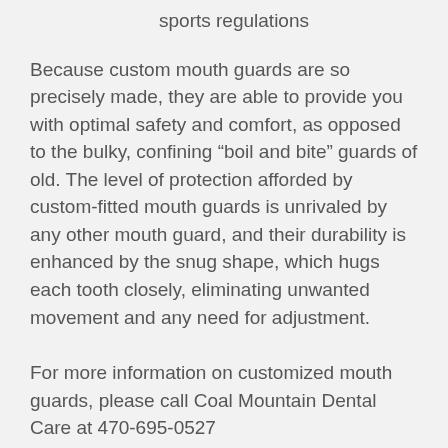sports regulations
Because custom mouth guards are so precisely made, they are able to provide you with optimal safety and comfort, as opposed to the bulky, confining “boil and bite” guards of old. The level of protection afforded by custom-fitted mouth guards is unrivaled by any other mouth guard, and their durability is enhanced by the snug shape, which hugs each tooth closely, eliminating unwanted movement and any need for adjustment.
For more information on customized mouth guards, please call Coal Mountain Dental Care at 470-695-0527